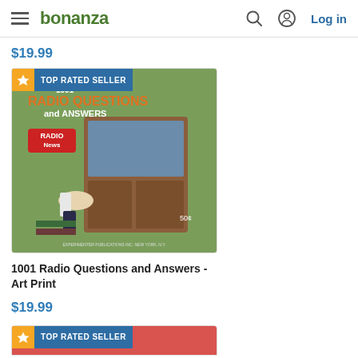bonanza  Log in
$19.99
[Figure (photo): Book cover art print: 1001 Radio Questions and Answers, published by Radio News, Experimenter Publications Inc., New York, with TOP RATED SELLER badge]
1001 Radio Questions and Answers - Art Print
$19.99
[Figure (photo): Second product card with TOP RATED SELLER badge, partially visible at bottom]